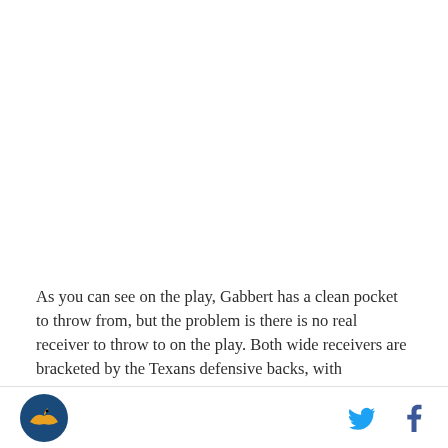[Figure (photo): White/blank image area at top of page, likely a football play diagram or screenshot]
As you can see on the play, Gabbert has a clean pocket to throw from, but the problem is there is no real receiver to throw to on the play. Both wide receivers are bracketed by the Texans defensive backs, with
Logo icon and social media icons (Twitter, Facebook)